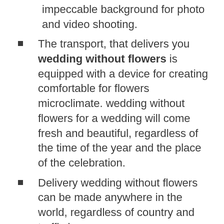impeccable background for photo and video shooting.
The transport, that delivers you wedding without flowers is equipped with a device for creating comfortable for flowers microclimate. wedding without flowers for a wedding will come fresh and beautiful, regardless of the time of the year and the place of the celebration.
Delivery wedding without flowers can be made anywhere in the world, regardless of country and traffic jams.
For many, the value of a wedding bouquet is very important. While choosing bouquets should adhere to the general stylistics of the